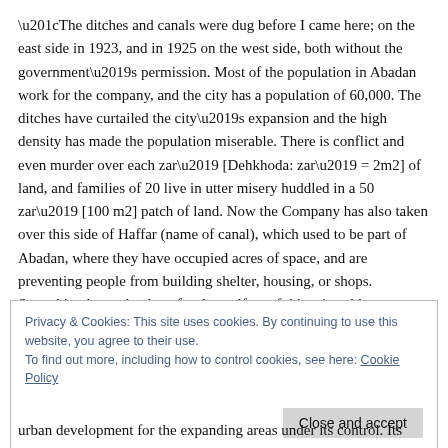“The ditches and canals were dug before I came here; on the east side in 1923, and in 1925 on the west side, both without the government’s permission. Most of the population in Abadan work for the company, and the city has a population of 60,000. The ditches have curtailed the city’s expansion and the high density has made the population miserable. There is conflict and even murder over each zar’ [Dehkhoda: zar’ = 2m2] of land, and families of 20 live in utter misery huddled in a 50 zar’ [100 m2] patch of land. Now the Company has also taken over this side of Haffar (name of canal), which used to be part of Abadan, where they have occupied acres of space, and are preventing people from building shelter, housing, or shops. Something has to be done for the welfare of this miserable population. Either they should be relocated and
Privacy & Cookies: This site uses cookies. By continuing to use this website, you agree to their use.
To find out more, including how to control cookies, see here: Cookie Policy
urban development for the expanding areas under its control. Its